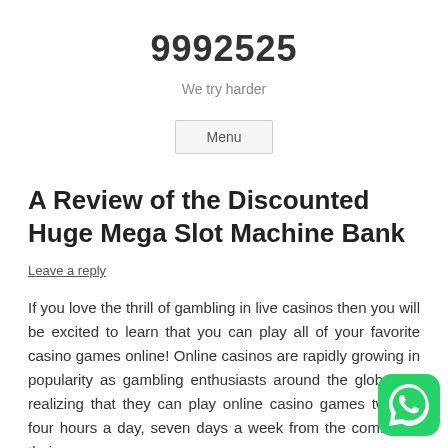9992525
We try harder
Menu
A Review of the Discounted Huge Mega Slot Machine Bank
Leave a reply
If you love the thrill of gambling in live casinos then you will be excited to learn that you can play all of your favorite casino games online! Online casinos are rapidly growing in popularity as gambling enthusiasts around the globe are realizing that they can play online casino games twenty-four hours a day, seven days a week from the comfort of their